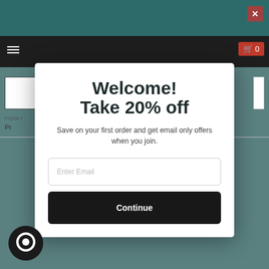[Figure (screenshot): Website background with teal header bar, dark navigation bar, search box, and partially visible page content]
Welcome! Take 20% off
Save on your first order and get email only offers when you join.
Enter Email
Continue
[Figure (logo): Round chat/messaging icon in black circle at bottom left]